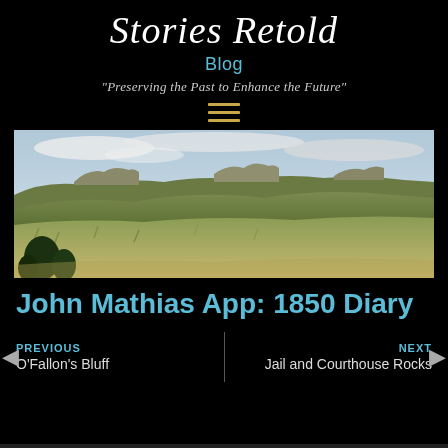Stories Retold
Blog
"Preserving the Past to Enhance the Future"
[Figure (illustration): Hamburger/menu icon with three horizontal golden lines]
[Figure (photo): Panoramic landscape photo of rolling green grassland hills with low rocky outcrops and a partly cloudy sky]
John Mathias App: 1850 Diary
PREVIOUS
O'Fallon's Bluff
NEXT
Jail and Courthouse Rocks